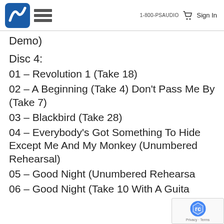1-800-PSAUDIO  Sign In
Demo)
Disc 4:
01 – Revolution 1 (Take 18)
02 – A Beginning (Take 4) Don't Pass Me By (Take 7)
03 – Blackbird (Take 28)
04 – Everybody's Got Something To Hide Except Me And My Monkey (Unumbered Rehearsal)
05 – Good Night (Unumbered Rehearsa
06 – Good Night (Take 10 With A Guita